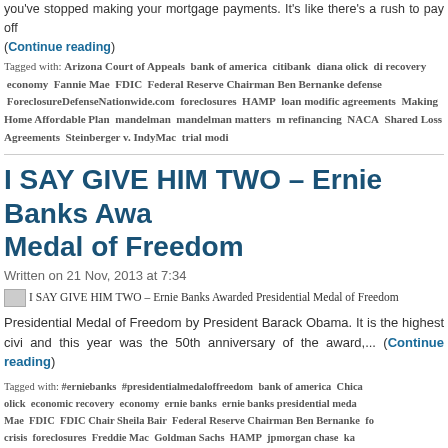you've stopped making your mortgage payments. It's like there's a rush to pay off (Continue reading)
Tagged with: Arizona Court of Appeals  bank of america  citibank  diana olick  di recovery  economy  Fannie Mae  FDIC  Federal Reserve Chairman Ben Bernanke defense  ForeclosureDefenseNationwide.com  foreclosures  HAMP  loan modifi agreements  Making Home Affordable Plan  mandelman  mandelman matters  m refinancing  NACA  Shared Loss Agreements  Steinberger v. IndyMac  trial modi
I SAY GIVE HIM TWO – Ernie Banks Awarded Presidential Medal of Freedom
Written on 21 Nov, 2013 at 7:34
[Figure (photo): Thumbnail image for blog post: I SAY GIVE HIM TWO – Ernie Banks Awarded Presidential Medal of Freedom]
Presidential Medal of Freedom by President Barack Obama. It is the highest civi and this year was the 50th anniversary of the award,... (Continue reading)
Tagged with: #erniebanks  #presidentialmedaloffreedom  bank of america  Chica olick  economic recovery  economy  ernie banks  ernie banks presidential meda Mae  FDIC  FDIC Chair Sheila Bair  Federal Reserve Chairman Ben Bernanke  fo crisis  foreclosures  Freddie Mac  Goldman Sachs  HAMP  jpmorgan chase  ka two  loan modification  loan modifications  Making Home Affordable Plan  mand andelman  martin andelman ml-implode  ml-implode  mortgage crisis  mortgage refinancing  NACA  obama  presidential medal of freedom  TARP  the negro lea modifications  unemployment  wells fargo bank
Glaski Attorney Richard Antognini on the Co